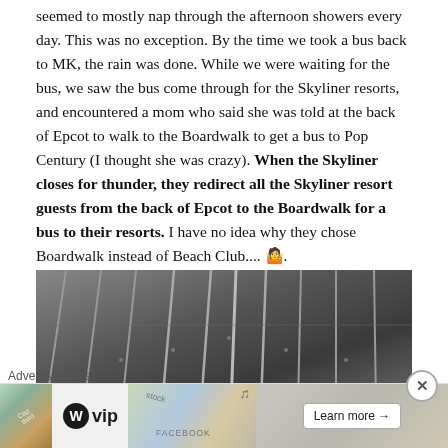seemed to mostly nap through the afternoon showers every day. This was no exception. By the time we took a bus back to MK, the rain was done. While we were waiting for the bus, we saw the bus come through for the Skyliner resorts, and encountered a mom who said she was told at the back of Epcot to walk to the Boardwalk to get a bus to Pop Century (I thought she was crazy). When the Skyliner closes for thunder, they redirect all the Skyliner resort guests from the back of Epcot to the Boardwalk for a bus to their resorts. I have no idea why they chose Boardwalk instead of Beach Club.... 🤷.
[Figure (photo): Interior ceiling photo of a Skyliner gondola showing white paneled ceiling with diagonal lines, viewed from below]
Advertisements
[Figure (screenshot): Advertisement banner featuring WordPress VIP logo and a Learn more button with colorful background]